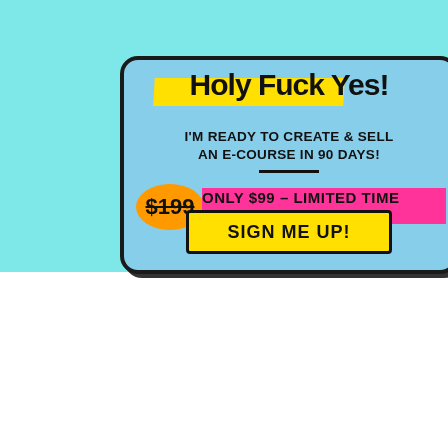[Figure (illustration): Hand-drawn style advertisement box on teal background. Contains text 'HOLY FUCK YES! i'm READY to CREATE & SELL an e-COURSE IN 90 DAYS!' with crossed-out price $199 in orange circle, pink highlighted text 'ONLY $99 - LIMITED TIME ONLY', and yellow 'SIGN ME UP!' button.]
[Figure (photo): Partial screenshot of a webpage with landscape/snow background on left and person wearing teal top with colorful fabric on right. Shows 'Step' text in bottom left. Has a TrustPulse notification popup and a gray scroll-to-top button.]
A sparkling delight from Linc... just purchased Marketing Without Social Media!
17 hours ago | by TrustPulse
Privacy & Cookies Policy